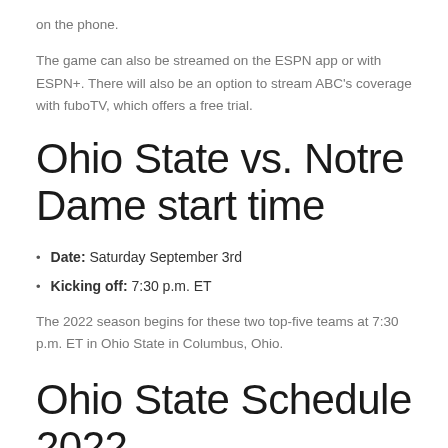on the phone.
The game can also be streamed on the ESPN app or with ESPN+. There will also be an option to stream ABC's coverage with fuboTV, which offers a free trial.
Ohio State vs. Notre Dame start time
Date: Saturday September 3rd
Kicking off: 7:30 p.m. ET
The 2022 season begins for these two top-five teams at 7:30 p.m. ET in Ohio State in Columbus, Ohio.
Ohio State Schedule 2022